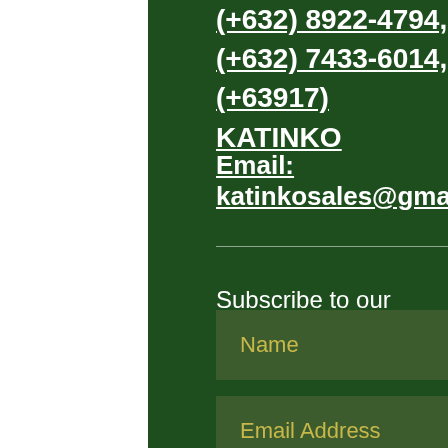(+632) 8922-4794,
(+632) 7433-6014,
(+63917) KATINKO
Email:
katinkosales@gmail.com
Subscribe to our mailing list
[Figure (screenshot): Web form with Name field, Email Address field, and Subscribe Now button on dark green background]